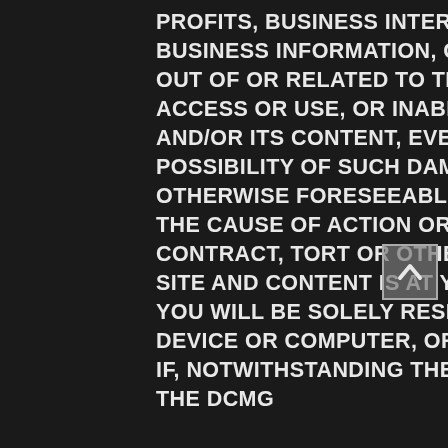PROFITS, BUSINESS INTERRUPTION, LOSS OF PERSONAL OR BUSINESS INFORMATION, OR OTHER LOSS OR DAMAGE) ARISING OUT OF OR RELATED TO THESE TERMS OR ARISING OUT OF THE ACCESS OR USE, OR INABILITY TO ACCESS OR USE THE SITE AND/OR ITS CONTENT, EVEN IF THEY HAVE BEEN ADVISED OF THE POSSIBILITY OF SUCH DAMAGES OR IF SUCH DAMAGES ARE OTHERWISE FORESEEABLE, AND REGARDLESS OF THE NATURE OF THE CAUSE OF ACTION OR THEORY ASSERTED (E.G., WHETHER IN CONTRACT, TORT OR OTHERWISE). ACCESS TO, AND USE OF, THE SITE AND CONTENT IS AT YOUR OWN RISK AND DISCRETION AND YOU WILL BE SOLELY RESPONSIBLE FOR ANY DAMAGE TO YOUR DEVICE OR COMPUTER, OR LOSS OF DATA RESULTING THEREFROM. IF, NOTWITHSTANDING THE PROVISIONS OF THE TERMS, ANY OF THE DCMG